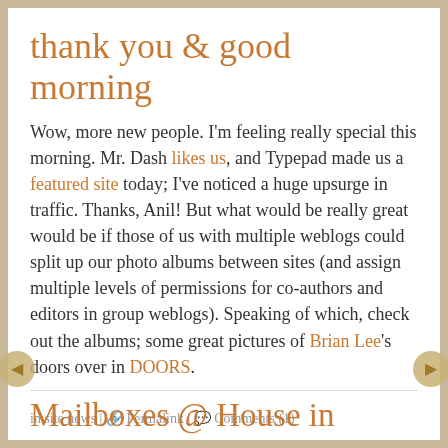thank you & good morning
Wow, more new people. I'm feeling really special this morning. Mr. Dash likes us, and Typepad made us a featured site today; I've noticed a huge upsurge in traffic. Thanks, Anil! But what would be really great would be if those of us with multiple weblogs could split up our photo albums between sites (and assign multiple levels of permissions for co-authors and editors in group weblogs). Speaking of which, check out the albums; some great pictures of Brian Lee's doors over in DOORS.
in site news | Permalink | Comments (1)
Mailboxes @ House in